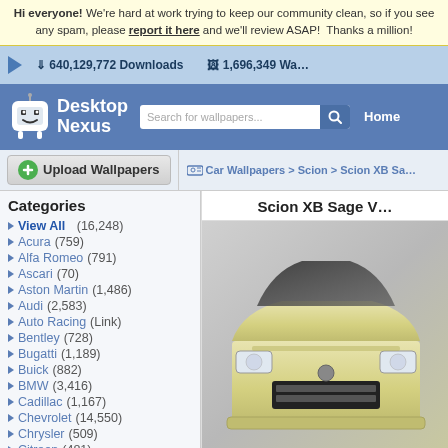Hi everyone! We're hard at work trying to keep our community clean, so if you see any spam, please report it here and we'll review ASAP! Thanks a million!
640,129,772 Downloads   1,696,349 Wa...
[Figure (screenshot): Desktop Nexus logo — white cartoon robot face with smiley, white text 'Desktop Nexus' on blue background]
Search for wallpapers...
Home
Upload Wallpapers
Car Wallpapers > Scion > Scion XB Sa...
Scion XB Sage V...
Categories
View All (16,248)
Acura (759)
Alfa Romeo (791)
Ascari (70)
Aston Martin (1,486)
Audi (2,583)
Auto Racing (Link)
Bentley (728)
Bugatti (1,189)
Buick (882)
BMW (3,416)
Cadillac (1,167)
Chevrolet (14,550)
Chrysler (509)
Citroen (481)
[Figure (photo): Front view of a yellow/cream Scion XB Sage vehicle on a grey gradient background]